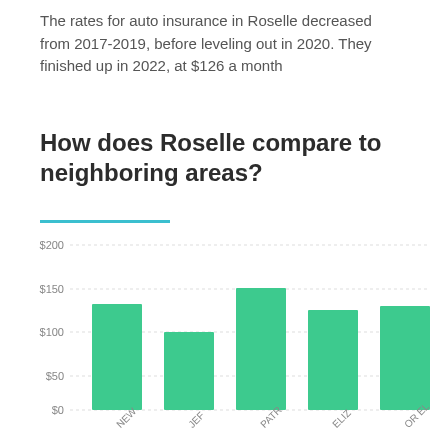The rates for auto insurance in Roselle decreased from 2017-2019, before leveling out in 2020. They finished up in 2022, at $126 a month
How does Roselle compare to neighboring areas?
[Figure (bar-chart): How does Roselle compare to neighboring areas?]